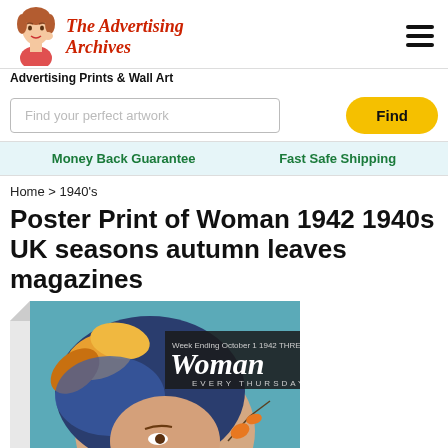[Figure (logo): The Advertising Archives logo with retro woman illustration and red italic script text]
Advertising Prints & Wall Art
Find your perfect artwork
Money Back Guarantee   Fast Safe Shipping
Home > 1940's
Poster Print of Woman 1942 1940s UK seasons autumn leaves magazines
[Figure (photo): Vintage 1942 Woman magazine cover showing a woman with autumn leaves, teal background, orange flower illustration]